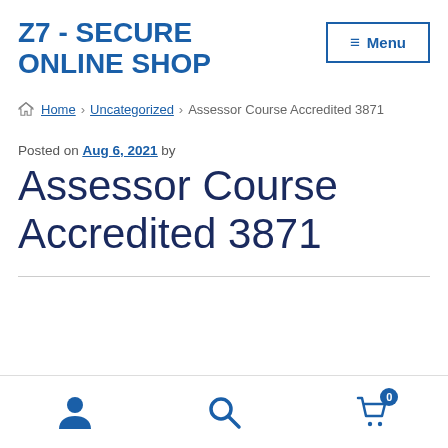Z7 - SECURE ONLINE SHOP
Home > Uncategorized > Assessor Course Accredited 3871
Posted on Aug 6, 2021 by
Assessor Course Accredited 3871
[user icon] [search icon] [cart icon with 0]